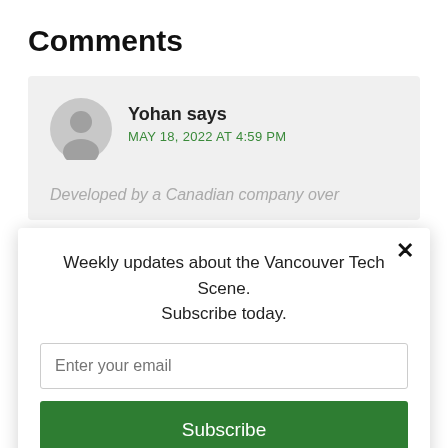Comments
Yohan says
MAY 18, 2022 AT 4:59 PM
Developed by a Canadian company over
Weekly updates about the Vancouver Tech Scene. Subscribe today.
Enter your email
Subscribe
powered by MailMunch